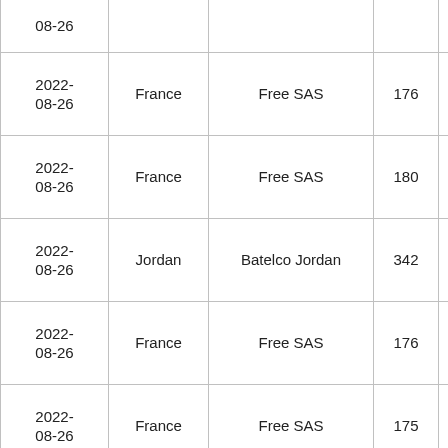| 08-26 |  |  |  |  |
| 2022-
08-26 | France | Free SAS | 176 |  |
| 2022-
08-26 | France | Free SAS | 180 |  |
| 2022-
08-26 | Jordan | Batelco Jordan | 342 |  |
| 2022-
08-26 | France | Free SAS | 176 |  |
| 2022-
08-26 | France | Free SAS | 175 |  |
| 2022-
08-26 | Turkey | SKYLOGIC S.P.A. | 867 |  |
|  |  |  |  |  |